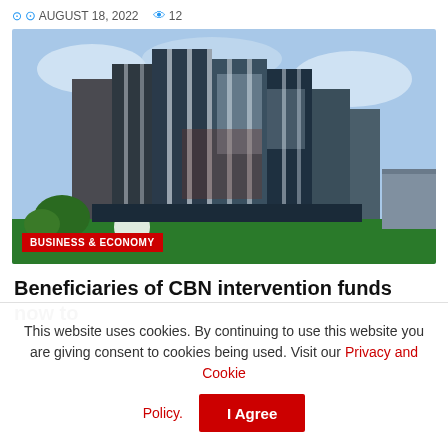AUGUST 18, 2022  12
[Figure (photo): Exterior photograph of the Central Bank of Nigeria (CBN) headquarters building — tall modern glass and concrete skyscraper towers with green signage at base]
BUSINESS & ECONOMY
Beneficiaries of CBN intervention funds now to
This website uses cookies. By continuing to use this website you are giving consent to cookies being used. Visit our Privacy and Cookie Policy.